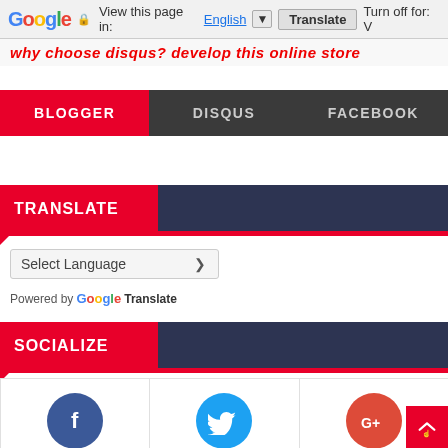Google Translate bar — View this page in: English [▼] | Translate | Turn off for: V
why choose Disqus? Develop this online store
BLOGGER | DISQUS | FACEBOOK
TRANSLATE
Select Language
Powered by Google Translate
SOCIALIZE
[Figure (infographic): Three social media icon circles: Facebook (dark blue with f logo), Twitter (light blue with bird logo), Google+ (red with G+ logo)]